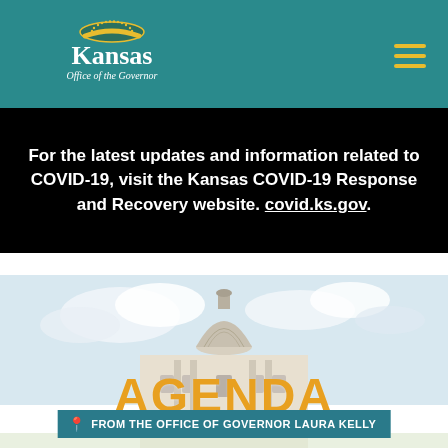[Figure (logo): Kansas Office of the Governor seal/logo on teal header with hamburger menu icon]
For the latest updates and information related to COVID-19, visit the Kansas COVID-19 Response and Recovery website. covid.ks.gov.
[Figure (photo): Kansas State Capitol building dome against cloudy sky]
AGENDA
FROM THE OFFICE OF GOVERNOR LAURA KELLY